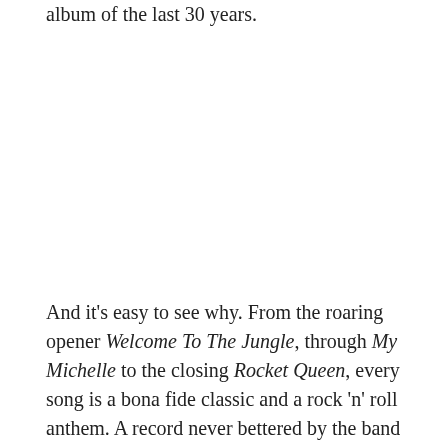album of the last 30 years.
And it’s easy to see why. From the roaring opener Welcome To The Jungle, through My Michelle to the closing Rocket Queen, every song is a bona fide classic and a rock ‘n’ roll anthem. A record never bettered by the band themselves, and at almost 30